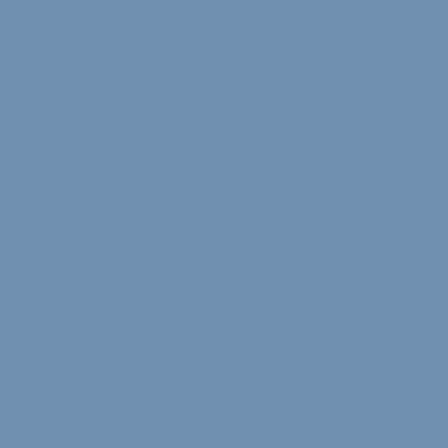Starting a couple years ago, the press, including with great enthusiasm, take a leading role in selling t of us knew) was based on lies, obfuscation and Iraqi civilians are dead along with the nearly 1,
In that case, the result was mass murder. So, wh with faux-macho Republican activists pretendi
Does anyone here really doubt that a truly profe way we learned in school, would have prevented mattered in the least, even to Mr. Rather, this w
In this latest case, the result is a comic soap ope Pa Ubu lives!
Who was damaged by all this? Dan Rather. If a him. Did anyone die as a result of this "terrible
CBS will, as most monolithic corporations do, may not.
The Republicans can lather themselves up in fa changes nothing.